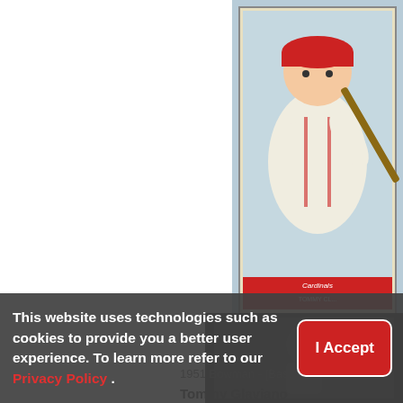[Figure (photo): Partial view of a 1951 Bowman baseball card featuring Tommy Glaviano in Cardinals uniform, cropped at right edge of page]
1951 Bowman - [Bas...
Tommy Glaviano [COMC RCR Poor]
$22.39
[Figure (photo): Partial view of a second sports card or image at bottom right, dark background]
This website uses technologies such as cookies to provide you a better user experience. To learn more refer to our Privacy Policy .
I Accept